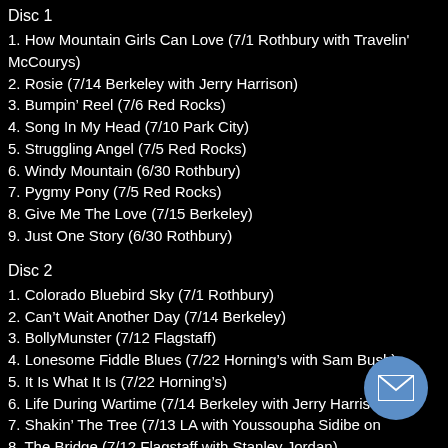Disc 1
1. How Mountain Girls Can Love (7/1 Rothbury with Travelin' McCourys)
2. Rosie (7/14 Berkeley with Jerry Harrison)
3. Bumpin' Reel (7/6 Red Rocks)
4. Song In My Head (7/10 Park City)
5. Struggling Angel (7/5 Red Rocks)
6. Windy Mountain (6/30 Rothbury)
7. Pygmy Pony (7/5 Red Rocks)
8. Give Me The Love (7/15 Berkeley)
9. Just One Story (6/30 Rothbury)
Disc 2
1. Colorado Bluebird Sky (7/1 Rothbury)
2. Can't Wait Another Day (7/14 Berkeley)
3. BollyMunster (7/12 Flagstaff)
4. Lonesome Fiddle Blues (7/22 Horning's with Sam Bush)
5. It Is What It Is (7/22 Horning's)
6. Life During Wartime (7/14 Berkeley with Jerry Harrison)
7. Shakin' The Tree (7/13 LA with Youssoupha Sidibe on…)
8. The Bridge (7/12 Flagstaff with Stanley Jordan)